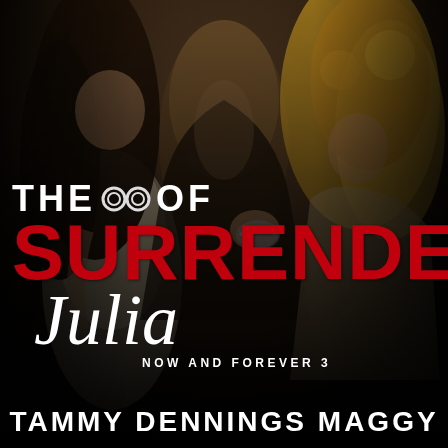[Figure (photo): Dark atmospheric book cover photo showing three figures — a dark-haired woman in white on the left, a muscular shirtless man in the center/back, and a curly blonde-haired woman on the right, against a dark background. The man appears to be holding or showing handcuffs.]
THE ⓞ OF SURRENDER Julia NOW AND FOREVER 3
TAMMY DENNINGS MAGGY